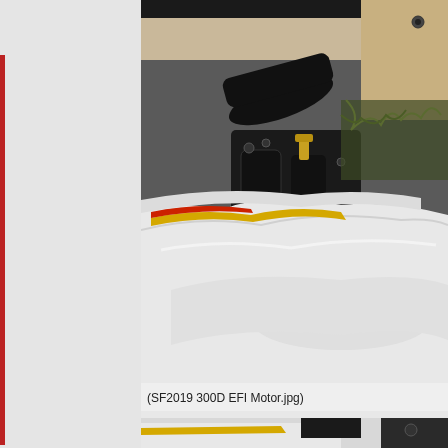[Figure (photo): Close-up photograph of a jet ski or personal watercraft engine compartment showing black mechanical components including a motor assembly with brass fitting, white fiberglass hull interior, and yellow/red graphic stripe visible along the hull.]
(SF2019 300D EFI Motor.jpg)
[Figure (photo): Partial photograph of a personal watercraft exterior showing white hull with black and yellow graphic accents, partially visible.]